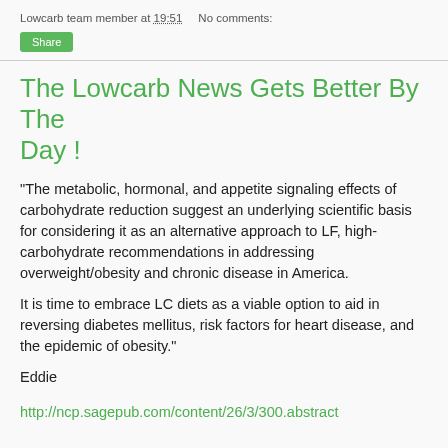Lowcarb team member at 19:51    No comments:
Share
The Lowcarb News Gets Better By The Day !
"The metabolic, hormonal, and appetite signaling effects of carbohydrate reduction suggest an underlying scientific basis for considering it as an alternative approach to LF, high-carbohydrate recommendations in addressing overweight/obesity and chronic disease in America.

It is time to embrace LC diets as a viable option to aid in reversing diabetes mellitus, risk factors for heart disease, and the epidemic of obesity."
Eddie
http://ncp.sagepub.com/content/26/3/300.abstract